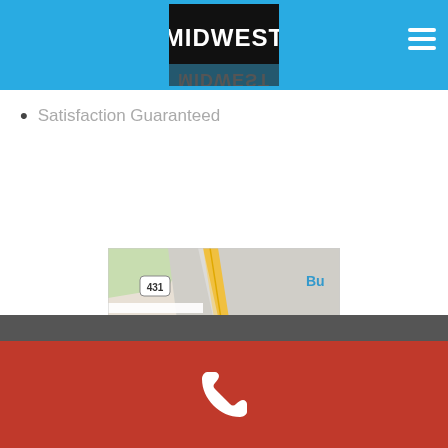MIDWEST
Satisfaction Guaranteed
[Figure (map): Google map showing Alexandria area with route 431 and 144, yellow road running diagonally, labeled 'Alexandria', blue text 'Bu' visible top right]
Phone contact bar with phone icon